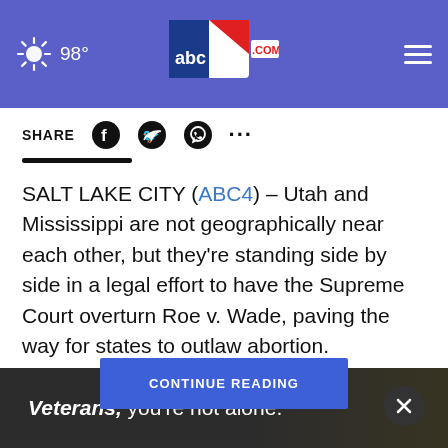98° abc4.com
SHARE
SALT LAKE CITY (ABC4) – Utah and Mississippi are not geographically near each other, but they're standing side by side in a legal effort to have the Supreme Court overturn Roe v. Wade, paving the way for states to outlaw abortion.
Utah is among  brief supporting Mi
CONTINUE READING
[Figure (screenshot): Ad banner: Veterans, you're not alone.]